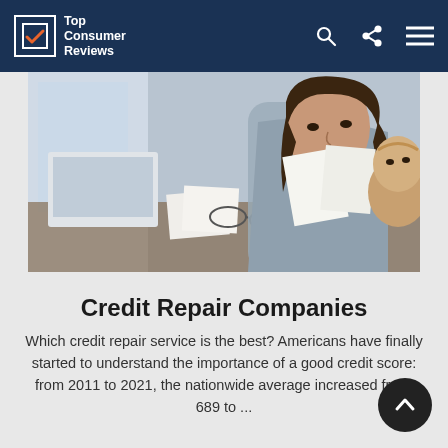Top Consumer Reviews
[Figure (photo): Woman sitting at a desk holding papers and a baby, with a laptop visible, in an office setting.]
Credit Repair Companies
Which credit repair service is the best? Americans have finally started to understand the importance of a good credit score: from 2011 to 2021, the nationwide average increased fro… 689 to ...